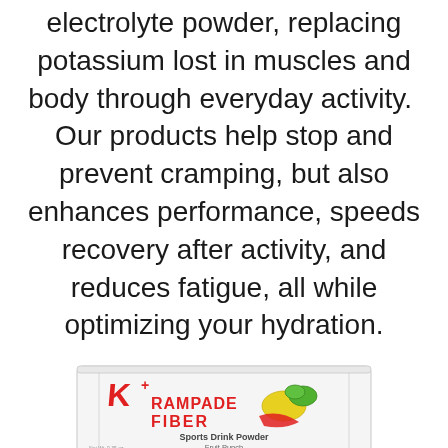electrolyte powder, replacing potassium lost in muscles and body through everyday activity.  Our products help stop and prevent cramping, but also enhances performance, speeds recovery after activity, and reduces fatigue, all while optimizing your hydration.
[Figure (photo): A white rectangular single-serve powder packet with red 'K+ RAMPADE FIBER' logo, fruit/lemon graphic, and text 'Sports Drink Powder, Fruit Punch']